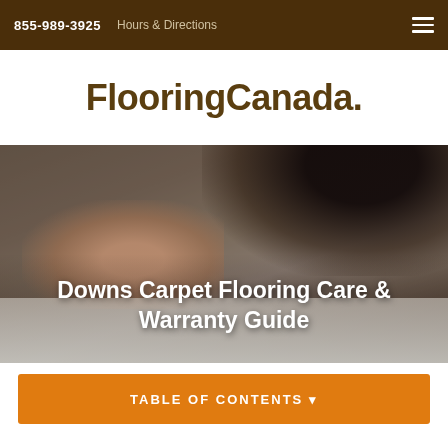855-989-3925  Hours & Directions
FlooringCanada.
[Figure (photo): Person lying on a white carpet, viewed from above, wearing dark clothing, with dark hair visible. Background shows a soft carpet texture.]
Downs Carpet Flooring Care & Warranty Guide
TABLE OF CONTENTS ▾